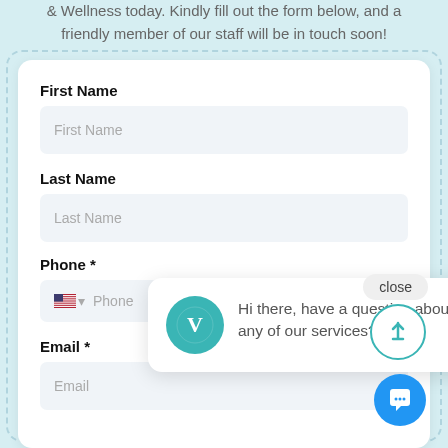& Wellness today. Kindly fill out the form below, and a friendly member of our staff will be in touch soon!
First Name
First Name (placeholder)
Last Name
Last Name (placeholder)
close
Hi there, have a question about any of our services?
Phone *
Phone (placeholder)
Email *
Email (placeholder)